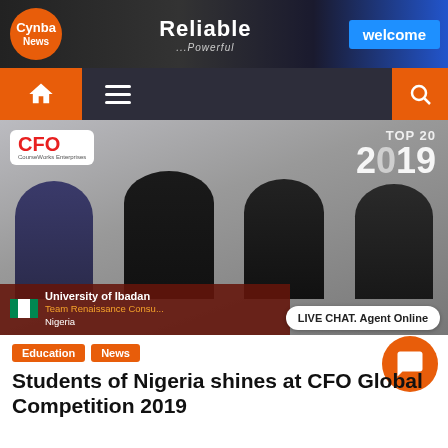[Figure (screenshot): Cynba News website banner with logo, 'Reliable ...Powerful' text, and 'welcome' button in blue]
[Figure (screenshot): Navigation bar with home icon, hamburger menu, and search icon on dark background with orange accents]
[Figure (photo): Four Nigerian students in formal attire with CFO logo top-left, TOP 20 2019 text top-right, University of Ibadan / Team Renaissance Consulting Nigeria overlay bottom-left, and LIVE CHAT Agent Online bubble]
Education   News
Students of Nigeria shines at CFO Global Competition 2019